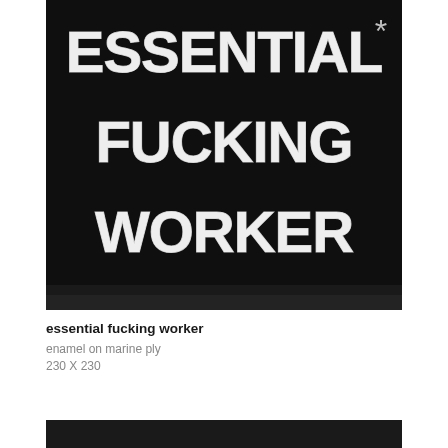[Figure (illustration): Painting on black background with large white block-letter text reading 'ESSENTIAL FUCKING WORKER' in three lines, painted in enamel. A small asterisk symbol appears in the upper right corner.]
essential fucking worker
enamel on marine ply
230 X 230